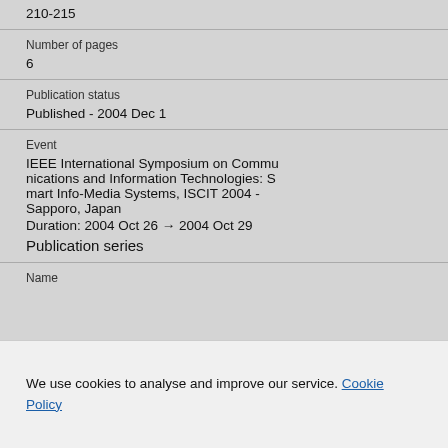210-215
Number of pages
6
Publication status
Published - 2004 Dec 1
Event
IEEE International Symposium on Communications and Information Technologies: Smart Info-Media Systems, ISCIT 2004 - Sapporo, Japan
Duration: 2004 Oct 26 → 2004 Oct 29
Publication series
Name
We use cookies to analyse and improve our service. Cookie Policy